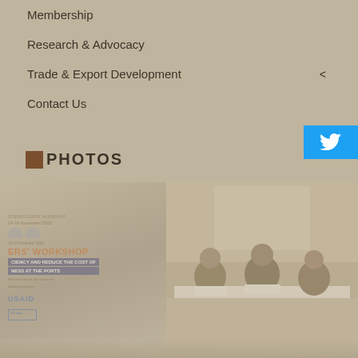Membership
Research & Advocacy
Trade & Export Development
Contact Us
PHOTOS
[Figure (photo): Workshop photo showing participants seated at tables with a banner partially visible reading 'ERS WORKSHOP' and 'CIENCY AND REDUCE THE COST OF NESS AT THE PORTS', with a USAID logo, and a meeting room photo on the right side showing people seated at tables.]